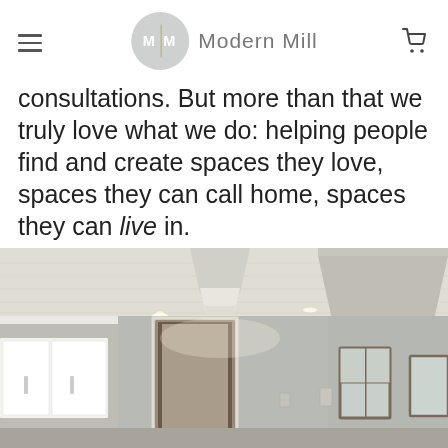Modern Mill
consultations. But more than that we truly love what we do: helping people find and create spaces they love, spaces they can call home, spaces they can live in.
[Figure (photo): Interior kitchen photo showing white cabinets, pendant light fixture, range hood, recessed lighting, open floor plan with doorways and windows]